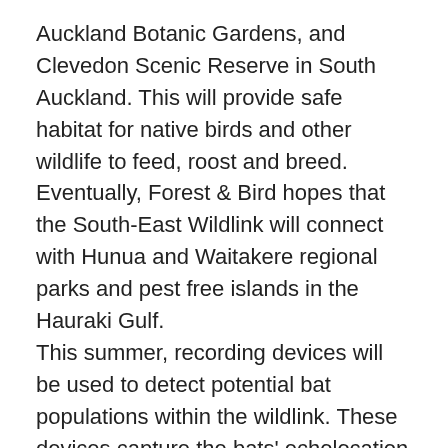Auckland Botanic Gardens, and Clevedon Scenic Reserve in South Auckland. This will provide safe habitat for native birds and other wildlife to feed, roost and breed.
Eventually, Forest & Bird hopes that the South-East Wildlink will connect with Hunua and Waitakere regional parks and pest free islands in the Hauraki Gulf.
This summer, recording devices will be used to detect potential bat populations within the wildlink. These devices capture the bats' echolocation calls that are mostly too high for the human ear to hear. Long tailed bats have the highest threat ranking of nationally critical, so the wildlink could play a vital part in their survival.
The wildlink is already home to about 35 species of